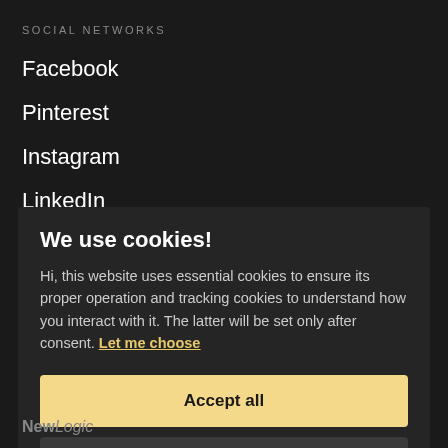SOCIAL NETWORKS
Facebook
Pinterest
Instagram
LinkedIn
We use cookies!
Hi, this website uses essential cookies to ensure its proper operation and tracking cookies to understand how you interact with it. The latter will be set only after consent. Let me choose
Accept all
Reject all
NewLogic